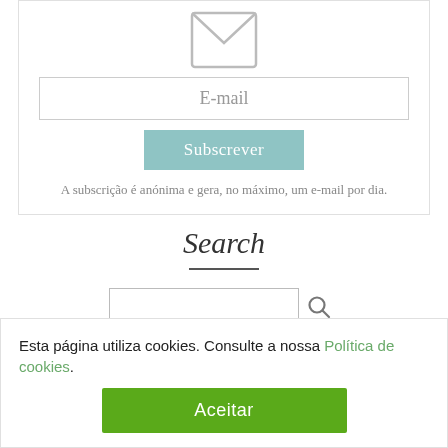[Figure (illustration): Email envelope icon, light gray outline style]
E-mail
Subscrever
A subscrição é anónima e gera, no máximo, um e-mail por dia.
Search
[Figure (illustration): Search bar input field with magnifying glass icon]
Esta página utiliza cookies. Consulte a nossa Política de cookies.
Aceitar